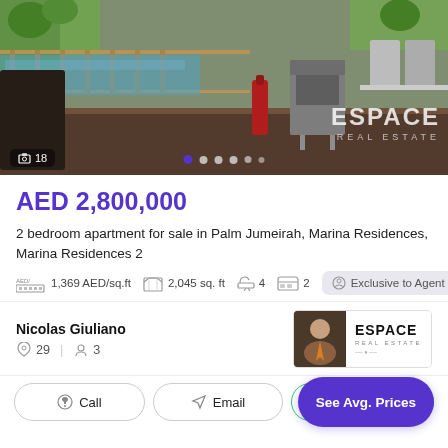[Figure (photo): Outdoor terrace/balcony area with dark wood table, wicker chair, pool visible in background, BBQ grill, red bottle, and ESPACE REAL ESTATE watermark. Image carousel with 18 photos, first dot active.]
AED 2,800,000
2 bedroom apartment for sale in Palm Jumeirah, Marina Residences, Marina Residences 2
1,369 AED/sq.ft   2,045 sq. ft   4   2
Exclusive to Agent
Nicolas Giuliano
29   3
Call   Email   WhatsApp   See Avg. Prices